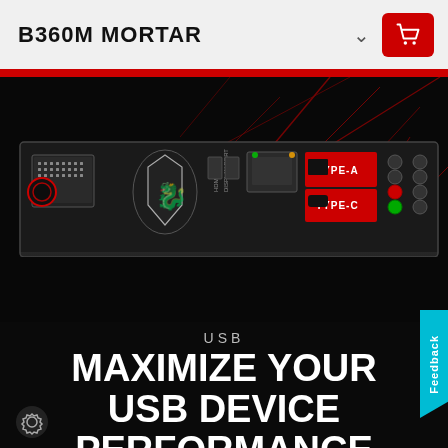B360M MORTAR
[Figure (photo): Close-up photo of MSI B360M MORTAR motherboard I/O panel showing USB TYPE-A and TYPE-C ports, DVI port, HDMI, Display Port, LAN port, and audio jacks, with red dragon lighting effects in the background]
USB
MAXIMIZE YOUR USB DEVICE PERFORMANCE